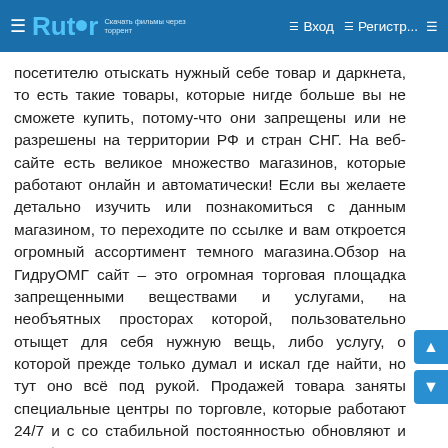Rutor | Вход | Регистр...
посетителю отыскать нужный себе товар и даркнета, то есть такие товары, которые нигде больше вы не сможете купить, потому-что они запрещены или не разрешены на территории РФ и стран СНГ. На веб-сайте есть великое множество магазинов, которые работают онлайн и автоматически! Если вы желаете детально изучить или познакомиться с данным магазином, то переходите по ссылке и вам откроется огромный ассортимент темного магазина.Обзор на ГидруОМГ сайт – это огромная торговая площадка запрещенными веществами и услугами, на необъятных просторах которой, пользовательно отыщет для себя нужную вещь, либо услугу, о которой прежде только думал и искал где найти, но тут оно всё под рукой. Продажей товара заняты специальные центры по торговле, которые работают 24/7 и с со стабильной постоянностью обновляют и так большой ассортимент. Также, можно заметить, что веб-сайт омг имеет возможность оставлять закладки там, где вам будет удобнее всего.Оформление заявки занимает считанные минуты. На всеобщем